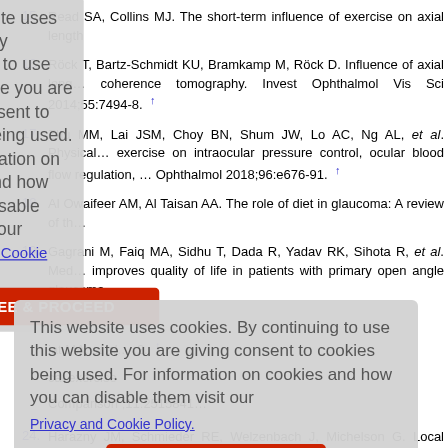15. Read SA, Collins MJ. The short-term influence of exercise on axial length
16. Röck T, Bartz-Schmidt KU, Bramkamp M, Röck D. Influence of axial leng... coherence tomography. Invest Ophthalmol Vis Sci 2014;55:7494-8.
17. Zhu MM, Lai JSM, Choy BN, Shum JW, Lo AC, Ng AL, et al. Physical... exercise on intraocular pressure control, ocular blood flow regulation, ... Ophthalmol 2018;96:e676-91.
18. Al Owaifeer AM, Al Taisan AA. The role of diet in glaucoma: A review of the
19. Gagrani M, Faiq MA, Sidhu T, Dada R, Yadav RK, Sihota R, et al. Med... improves quality of life in patients with primary open angle glaucoma
hmidl D, et a...
iat MA, et al... .2.
cal exercise
Comparison ;11:2515841
24. Harazny JM, Schmieder RE, Welzenbach J, Michelson G. Local applic...
This website uses cookies. By continuing to use this website you are giving consent to cookies being used. For information on cookies and how you can disable them visit our Privacy and Cookie Policy.
AGREE & PROCEED